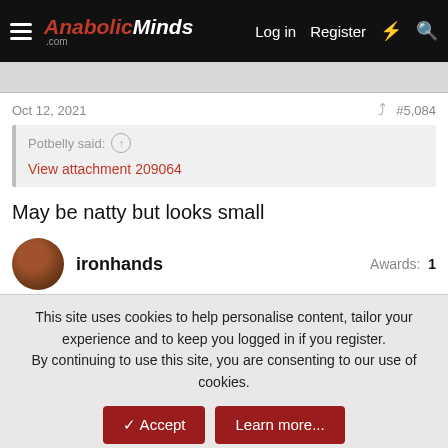AnabolicMinds.com | Log in | Register
Oct 12, 2021   #5,084
Potbelly said: ↑
View attachment 209064
May be natty but looks small
ironhands   Awards: 1
This site uses cookies to help personalise content, tailor your experience and to keep you logged in if you register.
By continuing to use this site, you are consenting to our use of cookies.
Topic of the Week: The Single Best Supplement You've Taken